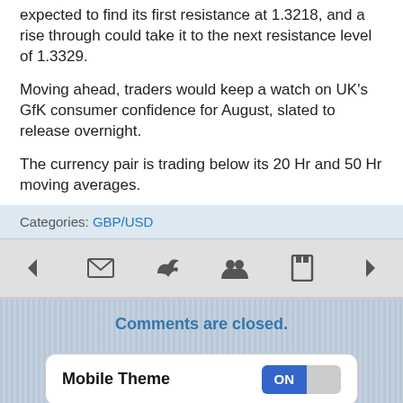expected to find its first resistance at 1.3218, and a rise through could take it to the next resistance level of 1.3329.
Moving ahead, traders would keep a watch on UK's GfK consumer confidence for August, slated to release overnight.
The currency pair is trading below its 20 Hr and 50 Hr moving averages.
Categories: GBP/USD
[Figure (other): Navigation bar with back arrow, email, twitter/bird, social/group, bookmark, and forward arrow icons]
Comments are closed.
Mobile Theme ON
All content Copyright GCI Forex News
Powered by WordPress + WPtouch 1.9.25